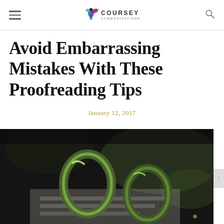COURSEY COMMUNICATIONS — navigation header with hamburger menu and search icon
Avoid Embarrassing Mistakes With These Proofreading Tips
January 12, 2017
[Figure (photo): Close-up photo of green metallic binder rings resting on paper documents, dark blurred background]